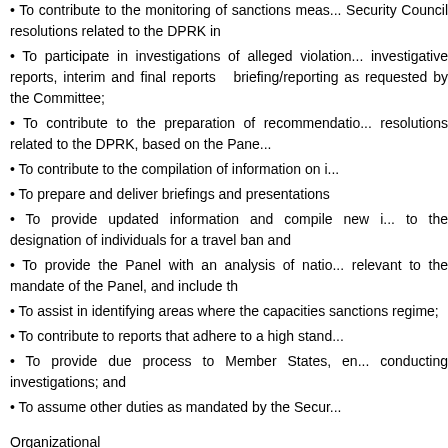• To contribute to the monitoring of sanctions measures under Security Council resolutions related to the DPRK in
• To participate in investigations of alleged violations, investigative reports, interim and final reports of briefing/reporting as requested by the Committee;
• To contribute to the preparation of recommendations resolutions related to the DPRK, based on the Panel
• To contribute to the compilation of information on in
• To prepare and deliver briefings and presentations
• To provide updated information and compile new information to the designation of individuals for a travel ban and
• To provide the Panel with an analysis of national relevant to the mandate of the Panel, and include the
• To assist in identifying areas where the capacities sanctions regime;
• To contribute to reports that adhere to a high standard
• To provide due process to Member States, ensuring conducting investigations; and
• To assume other duties as mandated by the Security
Organizational